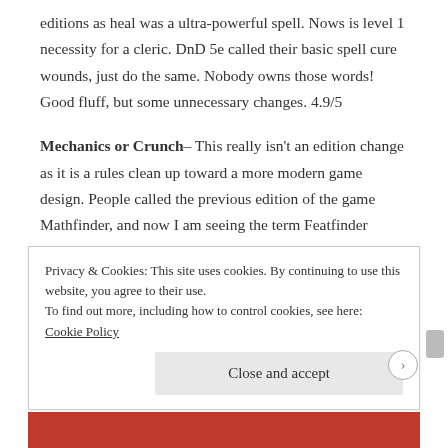editions as heal was a ultra-powerful spell. Nows is level 1 necessity for a cleric. DnD 5e called their basic spell cure wounds, just do the same. Nobody owns those words! Good fluff, but some unnecessary changes. 4.9/5
Mechanics or Crunch– This really isn't an edition change as it is a rules clean up toward a more modern game design. People called the previous edition of the game Mathfinder, and now I am seeing the term Featfinder thrown around. Those are fair criticisms of the game,
Privacy & Cookies: This site uses cookies. By continuing to use this website, you agree to their use.
To find out more, including how to control cookies, see here: Cookie Policy
Close and accept